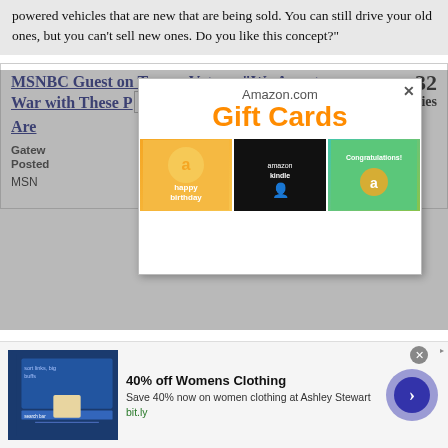powered vehicles that are new that are being sold. You can still drive your old ones, but you can’t sell new ones. Do you like this concept?
MSNBC Guest on Trump Voters: “We Are at War with These People; These Folks Are
32 replies
Gateway ... Posted ...
MSN... guests on Sa... n
[Figure (screenshot): Amazon.com Gift Cards popup advertisement with orange 'Gift Cards' text and three card images: happy birthday, amazonkindle, and Congratulations]
[Figure (screenshot): Bottom banner ad: 40% off Womens Clothing - Save 40% now on women clothing at Ashley Stewart - bit.ly]